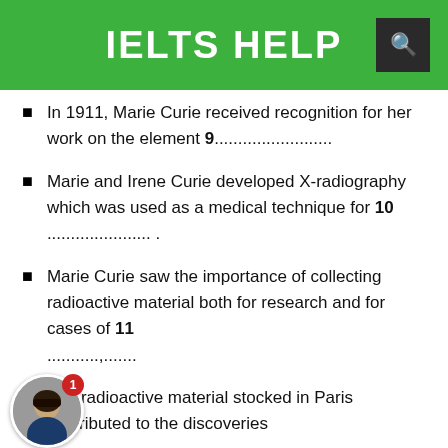IELTS HELP
In 1911, Marie Curie received recognition for her work on the element 9…………………………
Marie and Irene Curie developed X-radiography which was used as a medical technique for 10 ………………………… .
Marie Curie saw the importance of collecting radioactive material both for research and for cases of 11 ………….,…….
The radioactive material stocked in Paris contributed to the discoveries